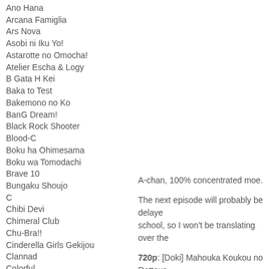Ano Hana
Arcana Famiglia
Ars Nova
Asobi ni Iku Yo!
Astarotte no Omocha!
Atelier Escha & Logy
B Gata H Kei
Baka to Test
Bakemono no Ko
BanG Dream!
Black Rock Shooter
Blood-C
Boku ha Ohimesama
Boku wa Tomodachi
Brave 10
Bungaku Shoujo
C
Chibi Devi
Chimeral Club
Chu-Bra!!
Cinderella Girls Gekijou
Clannad
Colorful
Da Capo
Dagashi Kashi
Date a Live
Denpa Onna
Denpa teki na Kanojo
Dog Days
Doki Meetups
DokiDoki! Precure
Doujin
A-chan, 100% concentrated moe.
The next episode will probably be delayed. I'm still in school, so I won't be translating over the week.
720p: [Doki] Mahouka Koukou no Rettous...
Torrent | XDCC